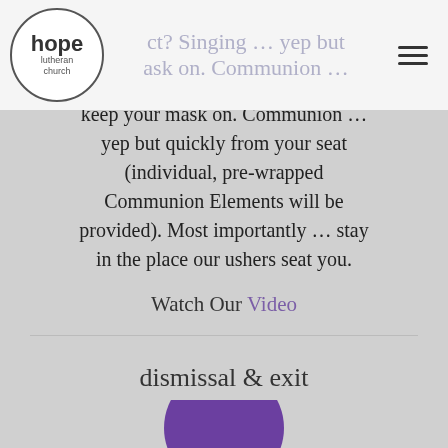[Figure (logo): Hope Lutheran Church circular logo with text 'hope' and 'lutheran church' inside a circle]
ct? Singing … yep but mask on. Communion … yep but quickly from your seat (individual, pre-wrapped Communion Elements will be provided). Most importantly … stay in the place our ushers seat you.
Watch Our Video
dismissal & exit
[Figure (logo): Hope Lutheran Church purple circular logo with white 'hope' text, partially visible at bottom]